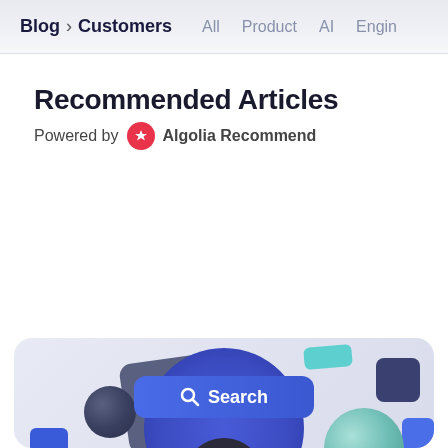Blog > Customers   All  Product  AI  Engin
Recommended Articles
Powered by  Algolia Recommend
[Figure (screenshot): Article card with 3D illustrated scene showing geometric shapes (squares, spheres), a circular portal with person silhouette, and a search bar with magnifying glass icon and text 'Search']